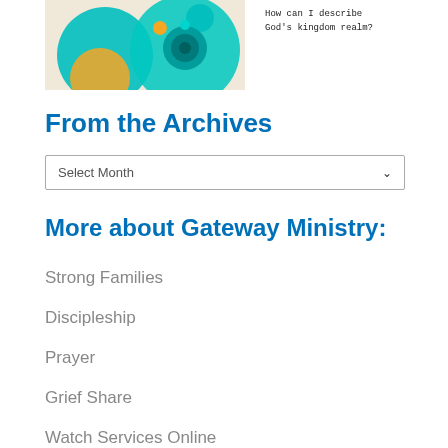[Figure (illustration): Decorative image with teal/turquoise circles and an orange circle on a beige/cream background, with a combination lock or similar circular object]
How can I describe God's kingdom realm?
From the Archives
Select Month
More about Gateway Ministry:
Strong Families
Discipleship
Prayer
Grief Share
Watch Services Online